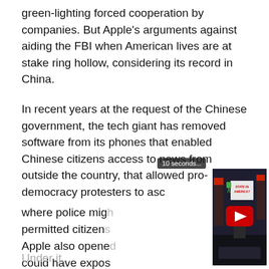green-lighting forced cooperation by companies. But Apple's arguments against aiding the FBI when American lives are at stake ring hollow, considering its record in China.
In recent years at the request of the Chinese government, the tech giant has removed software from its phones that enabled Chinese citizens access to news from outside the country, that allowed pro-democracy protesters to asc[ertain] where police mig[ht be,] permitted citizen[s...] Apple also opene[d...] could have expos[ed...] eyes of the Chine[se government...]
[Figure (screenshot): Embedded YouTube video thumbnail showing a man on a dark set with American flags and a sign reading 'STATE IN AMERICA?'. A red YouTube play button is overlaid. A '10 seconds...' countdown badge appears at top right of the video.]
Under it...